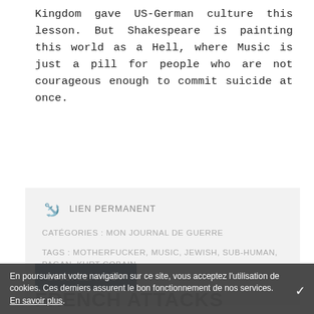Kingdom gave US-German culture this lesson. But Shakespeare is painting this world as a Hell, where Music is just a pill for people who are not courageous enough to commit suicide at once.
LIEN PERMANENT
CATÉGORIES : MON JOURNAL DE GUERRE
TAGS : MOTHERFUCKER, MUSIC, JEWISH, SUB-HUMAN, PAGAN, KURT COBAIN
0 COMMENTAIRE
2008. 12. AOÛT
FRENCH ATTACKS
En poursuivant votre navigation sur ce site, vous acceptez l'utilisation de cookies. Ces derniers assurent le bon fonctionnement de nos services. En savoir plus.